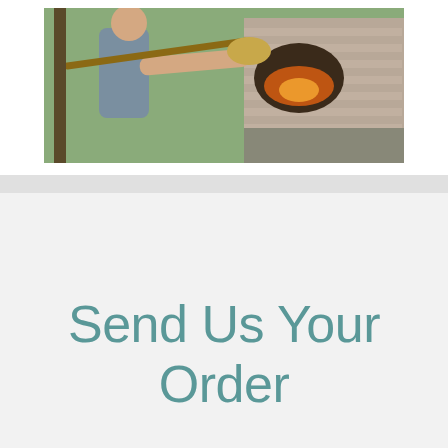[Figure (photo): Person using a long-handled peel to work with a wood-fired brick oven outdoors, stone masonry oven structure visible]
Send Us Your Order